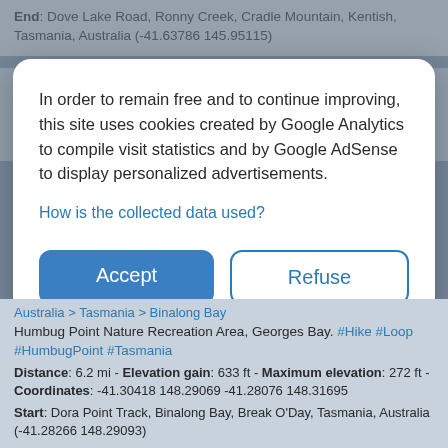End: Dove Lake Road, Ronny Creek, Cradle Mountain, Kentish, Tasmania, Australia (-41.63786 145.95115)
Crater Lake - Marions Lookout - Lake Lilla - Dove Lake
Australia > Tasmania > Cradle Mountain
In order to remain free and to continue improving, this site uses cookies created by Google Analytics to compile visit statistics and by Google AdSense to display personalized advertisements.
How is the collected data used?
Accept
Refuse
Australia > Tasmania > Binalong Bay
Humbug Point Nature Recreation Area, Georges Bay. #Hike #Loop #HumbugPoint #Tasmania
Distance: 6.2 mi - Elevation gain: 633 ft - Maximum elevation: 272 ft - Coordinates: -41.30418 148.29069 -41.28076 148.31695
Start: Dora Point Track, Binalong Bay, Break O'Day, Tasmania, Australia (-41.28266 148.29093)